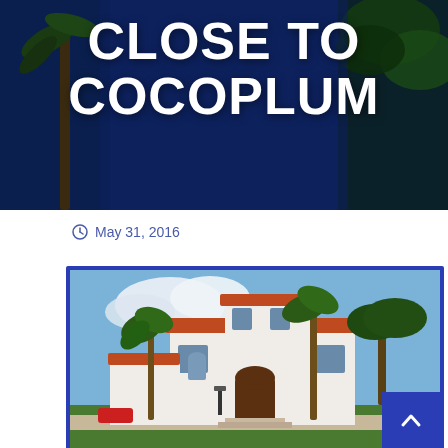[Figure (photo): Hero banner with dark blue background and tropical palm/tree overlays on left and right sides]
CLOSE TO COCOPLUM
May 31, 2016
[Figure (photo): Photo of a white two-story Mediterranean/Spanish-style house with red tile roof, palm trees, arched entryway, surrounded by lush tropical landscaping under a blue sky with white clouds]